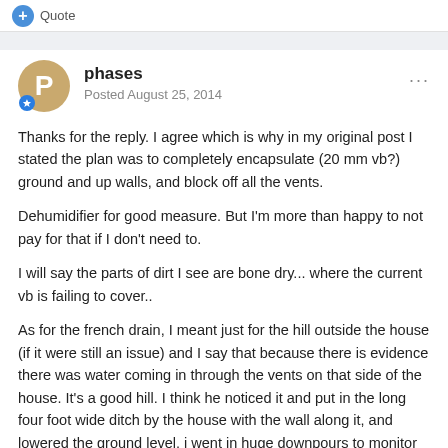Quote
phases
Posted August 25, 2014
Thanks for the reply. I agree which is why in my original post I stated the plan was to completely encapsulate (20 mm vb?) ground and up walls, and block off all the vents.
Dehumidifier for good measure. But I'm more than happy to not pay for that if I don't need to.
I will say the parts of dirt I see are bone dry... where the current vb is failing to cover..
As for the french drain, I meant just for the hill outside the house (if it were still an issue) and I say that because there is evidence there was water coming in through the vents on that side of the house. It's a good hill. I think he noticed it and put in the long four foot wide ditch by the house with the wall along it, and lowered the ground level. i went in huge downpours to monitor and